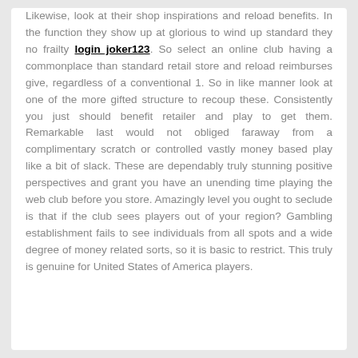Likewise, look at their shop inspirations and reload benefits. In the function they show up at glorious to wind up standard they no frailty login joker123. So select an online club having a commonplace than standard retail store and reload reimburses give, regardless of a conventional 1. So in like manner look at one of the more gifted structure to recoup these. Consistently you just should benefit retailer and play to get them. Remarkable last would not obliged faraway from a complimentary scratch or controlled vastly money based play like a bit of slack. These are dependably truly stunning positive perspectives and grant you have an unending time playing the web club before you store. Amazingly level you ought to seclude is that if the club sees players out of your region? Gambling establishment fails to see individuals from all spots and a wide degree of money related sorts, so it is basic to restrict. This truly is genuine for United States of America players.